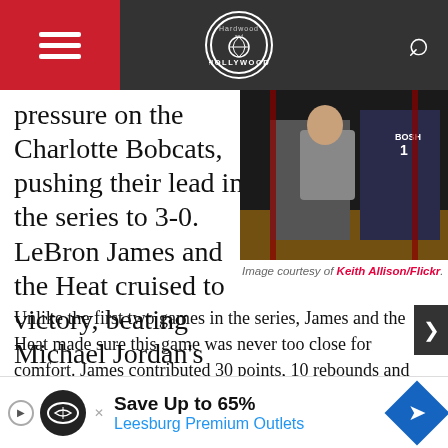Hardwood and Hollywood
pressure on the Charlotte Bobcats, pushing their lead in the series to 3-0. LeBron James and the Heat cruised to victory, beating Michael Jordan's Bobcats handily, 98-85.
[Figure (photo): Basketball game sideline photo showing coach and players, one wearing jersey number 1 with BOSH visible]
Image courtesy of Keith Allison/Flickr.
Unlike the first two games in the series, James and the Heat made sure this game was never too close for comfort. James contributed 30 points, 10 rebounds and six assists, hitting 10 of 18 from the hardwood. Dwyane Wade chipped in 17 points...came c...s. As a